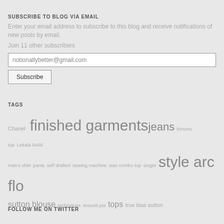SUBSCRIBE TO BLOG VIA EMAIL
Enter your email address to subscribe to this blog and receive notifications of new posts by email.
Join 11 other subscribers
notionallybetter@gmail.com
Subscribe
TAGS
Chanel finished garments jeans kimono top Lekala 5446 man's shirt pants self drafted sewing machine sian combo top singer style arc flo sutton blouse techniques tessutti pia tops true bias sutton
FOLLOW ME ON TWITTER